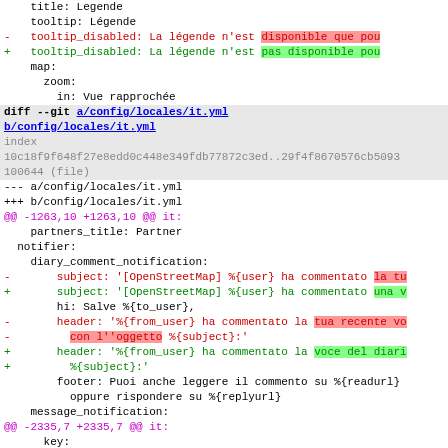title: Legende
    tooltip: Légende
-   tooltip_disabled: La légende n'est disponible que pou
+   tooltip_disabled: La légende n'est pas disponible pou
    map:
      zoom:
        in: Vue rapprochée
diff --git a/config/locales/it.yml b/config/locales/it.yml
index 10c18f9f648f27e8edd0c448e349fdb77872c3ed..29f4f8670576cb5093 100644 (file)
--- a/config/locales/it.yml
+++ b/config/locales/it.yml
@@ -1263,10 +1263,10 @@ it:
    partners_title: Partner
  notifier:
    diary_comment_notification:
-       subject: '[OpenStreetMap] %{user} ha commentato la tu
+       subject: '[OpenStreetMap] %{user} ha commentato una v
        hi: Salve %{to_user},
-       header: '%{from_user} ha commentato la tua recente vo
-         con l''oggetto %{subject}:'
+       header: '%{from_user} ha commentato la voce del diari
+         %{subject}:'
        footer: Puoi anche leggere il commento su %{readurl}
          oppure rispondere su %{replyurl}
    message_notification:
@@ -2335,7 +2335,7 @@ it:
      key:
        title: Legenda